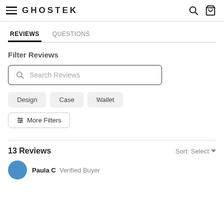GHOSTEK
REVIEWS  QUESTIONS
Filter Reviews
Search Reviews
Design
Case
Wallet
More Filters
13 Reviews
Sort: Select
Paula C  Verified Buyer